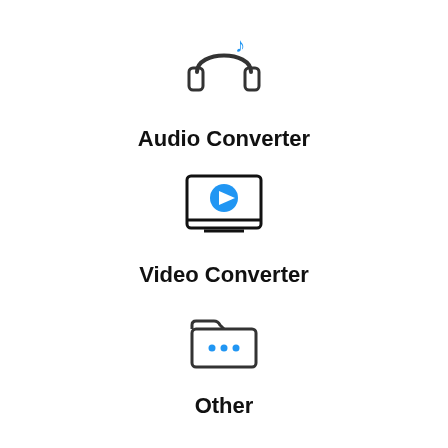[Figure (illustration): Headphones icon with musical note in blue, dark gray outlined headphones]
Audio Converter
[Figure (illustration): Video player/monitor icon with blue play button circle in center, dark outlined rectangle with stand]
Video Converter
[Figure (illustration): Folder icon with three blue dots inside, dark outlined folder shape]
Other